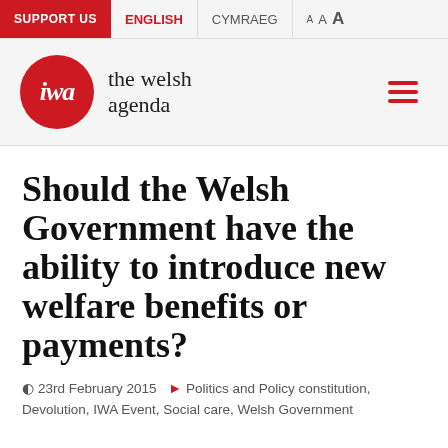SUPPORT US | ENGLISH | CYMRAEG | A A A
[Figure (logo): IWA - the welsh agenda logo: red circle with 'iwa' in white italic text, followed by 'the welsh agenda' in serif font]
Should the Welsh Government have the ability to introduce new welfare benefits or payments?
23rd February 2015  Politics and Policy constitution, Devolution, IWA Event, Social care, Welsh Government